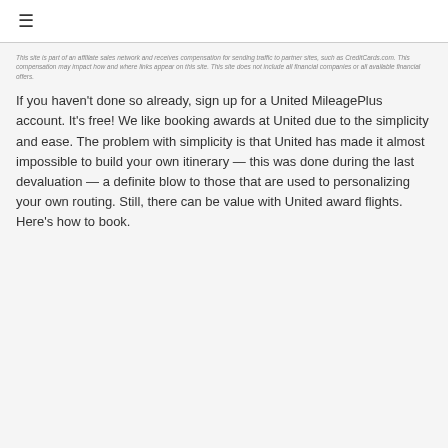☰
This site is part of an affiliate sales network and receives compensation for sending traffic to partner sites, such as CreditCards.com. This compensation may impact how and where links appear on this site. This site does not include all financial companies or all available financial offers.
If you haven't done so already, sign up for a United MileagePlus account. It's free! We like booking awards at United due to the simplicity and ease. The problem with simplicity is that United has made it almost impossible to build your own itinerary — this was done during the last devaluation — a definite blow to those that are used to personalizing your own routing. Still, there can be value with United award flights. Here's how to book.